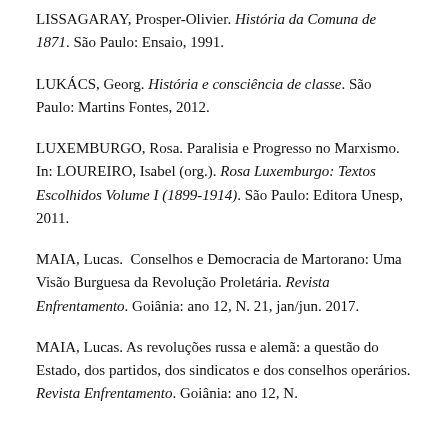LISSAGARAY, Prosper-Olivier. História da Comuna de 1871. São Paulo: Ensaio, 1991.
LUKÁCS, Georg. História e consciência de classe. São Paulo: Martins Fontes, 2012.
LUXEMBURGO, Rosa. Paralisia e Progresso no Marxismo. In: LOUREIRO, Isabel (org.). Rosa Luxemburgo: Textos Escolhidos Volume I (1899-1914). São Paulo: Editora Unesp, 2011.
MAIA, Lucas.  Conselhos e Democracia de Martorano: Uma Visão Burguesa da Revolução Proletária. Revista Enfrentamento. Goiânia: ano 12, N. 21, jan/jun. 2017.
MAIA, Lucas. As revoluções russa e alemã: a questão do Estado, dos partidos, dos sindicatos e dos conselhos operários. Revista Enfrentamento. Goiânia: ano 12, N.